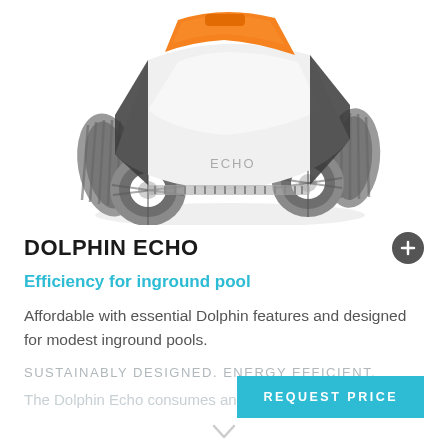[Figure (photo): Dolphin Echo robotic pool cleaner — white and orange body with grey rubber tracks, viewed from a front-top angle. The word 'ECHO' is printed on the side.]
DOLPHIN ECHO
Efficiency for inground pool
Affordable with essential Dolphin features and designed for modest inground pools.
SUSTAINABLY DESIGNED. ENERGY EFFICIENT.
The Dolphin Echo consumes an average of 5 cents of
REQUEST PRICE